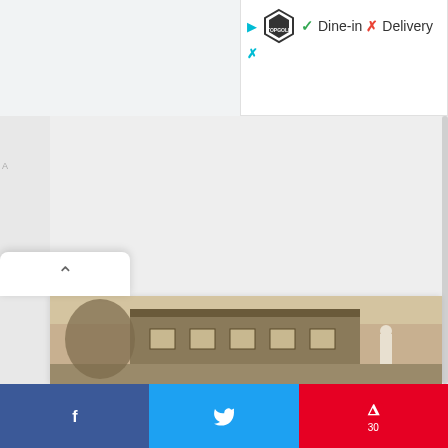[Figure (screenshot): Partial Google Maps / restaurant UI showing Topgolf logo, Dine-in checkmark, Delivery X mark, and a card panel with chevron-up button, a vintage black-and-white photograph of a building, and social sharing bar with Facebook, Twitter, and Pinterest buttons (30 pins)]